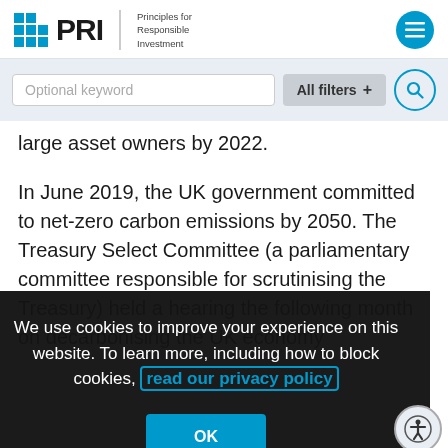PRI — Principles for Responsible Investment
Optional keyword  All filters +
large asset owners by 2022.
In June 2019, the UK government committed to net-zero carbon emissions by 2050. The Treasury Select Committee (a parliamentary committee responsible for scrutinising the Treasury) held a hearing the following month on decarbonising the UK economy
We use cookies to improve your experience on this website. To learn more, including how to block cookies, read our privacy policy
OK
recommended that directors at companies which to comply with the Act's mandatory reporting